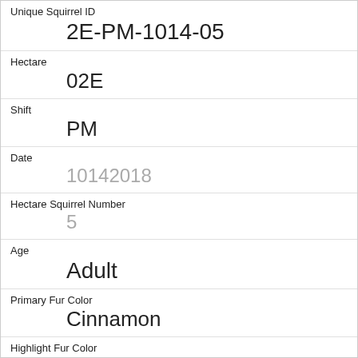| Field | Value |
| --- | --- |
| Unique Squirrel ID | 2E-PM-1014-05 |
| Hectare | 02E |
| Shift | PM |
| Date | 10142018 |
| Hectare Squirrel Number | 5 |
| Age | Adult |
| Primary Fur Color | Cinnamon |
| Highlight Fur Color | Gray |
| Combination of Primary and Highlight Color | Cinnamon+Gray |
| Color notes |  |